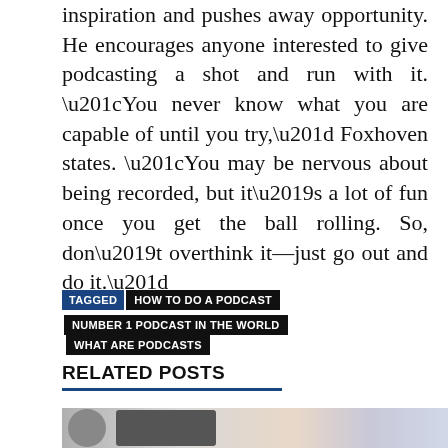inspiration and pushes away opportunity. He encourages anyone interested to give podcasting a shot and run with it. “You never know what you are capable of until you try,” Foxhoven states. “You may be nervous about being recorded, but it’s a lot of fun once you get the ball rolling. So, don’t overthink it—just go out and do it.”
TAGGED  HOW TO DO A PODCAST  NUMBER 1 PODCAST IN THE WORLD  WHAT ARE PODCASTS
RELATED POSTS
[Figure (photo): Partial photo strip showing hands near a keyboard and other objects, cropped at bottom of page]